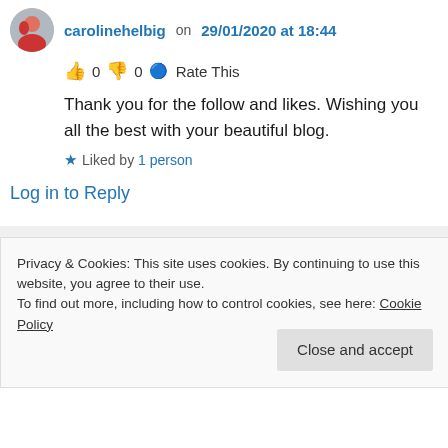carolinehelbig on 29/01/2020 at 18:44
👍 0 👎 0 ℹ Rate This
Thank you for the follow and likes. Wishing you all the best with your beautiful blog.
★ Liked by 1 person
Log in to Reply
Didis Art Design on 29/01/2020 at 18:54
Privacy & Cookies: This site uses cookies. By continuing to use this website, you agree to their use. To find out more, including how to control cookies, see here: Cookie Policy
Close and accept
Didi